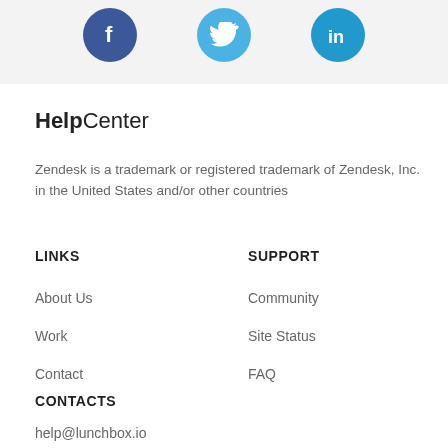[Figure (logo): Three social media icons: Facebook (blue circle with white F), Twitter (light blue circle with white bird), LinkedIn (teal blue circle with white 'in')]
HelpCenter
Zendesk is a trademark or registered trademark of Zendesk, Inc. in the United States and/or other countries
LINKS
SUPPORT
About Us
Community
Work
Site Status
Contact
FAQ
CONTACTS
help@lunchbox.io